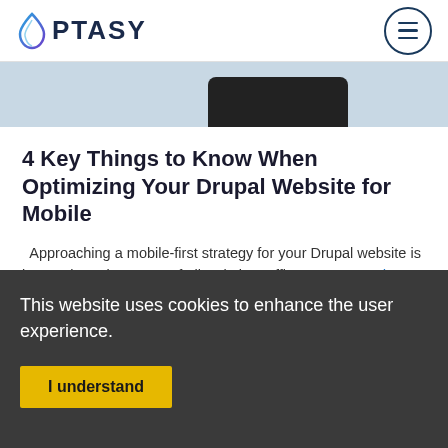OPTASY
[Figure (screenshot): Partial hero image showing a dark smartphone device against a light blue-grey background]
4 Key Things to Know When Optimizing Your Drupal Website for Mobile
Approaching a mobile-first strategy for your Drupal website is imperative. Since 52% of all website traffic come… Read more
This website uses cookies to enhance the user experience.